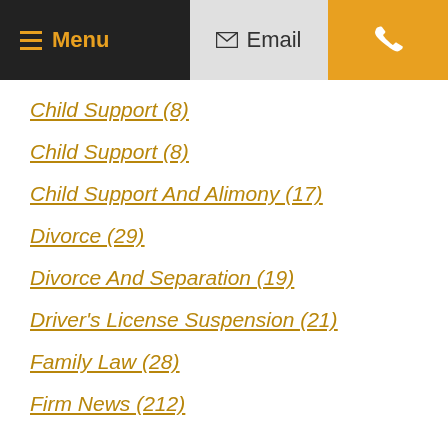Menu  Email  [phone]
Child Support (8)
Child Support (8)
Child Support And Alimony (17)
Divorce (29)
Divorce And Separation (19)
Driver's License Suspension (21)
Family Law (28)
Firm News (212)